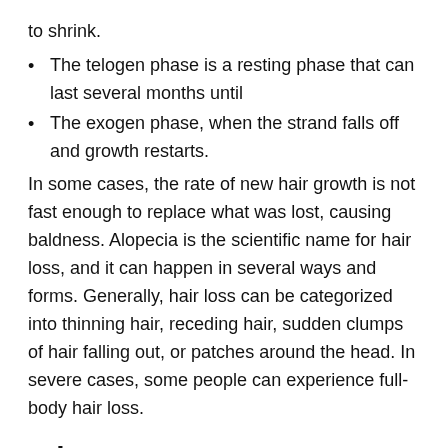to shrink.
The telogen phase is a resting phase that can last several months until
The exogen phase, when the strand falls off and growth restarts.
In some cases, the rate of new hair growth is not fast enough to replace what was lost, causing baldness. Alopecia is the scientific name for hair loss, and it can happen in several ways and forms. Generally, hair loss can be categorized into thinning hair, receding hair, sudden clumps of hair falling out, or patches around the head. In severe cases, some people can experience full-body hair loss.
When To See A Dermatologist
If changing how you care for your hair does not help you see healthier hair, you may want to see a dermatologist. Your